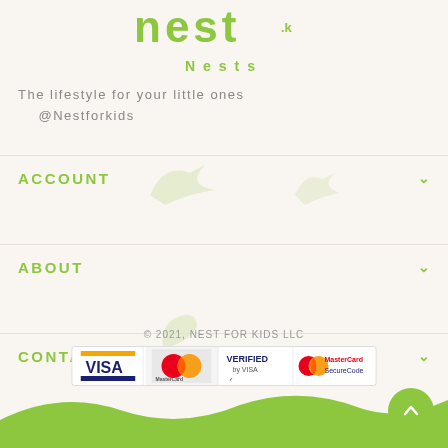[Figure (logo): Nest for kids logo in lime green with stylized text]
The lifestyle for your little ones
@Nestforkids
ACCOUNT
ABOUT
CONTACT US
© 2021, NEST FOR KIDS LLC
[Figure (other): Payment method icons: VISA, MasterCard, Verified by VISA, MasterCard SecureCode]
[Figure (other): Green wave shape at bottom of page with scroll-to-top button]